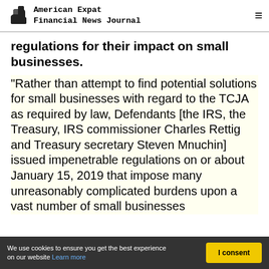American Expat Financial News Journal
regulations for their impact on small businesses.
"Rather than attempt to find potential solutions for small businesses with regard to the TCJA as required by law, Defendants [the IRS, the Treasury, IRS commissioner Charles Rettig and Treasury secretary Steven Mnuchin] issued impenetrable regulations on or about January 15, 2019 that impose many unreasonably complicated burdens upon a vast number of small businesses
We use cookies to ensure you get the best experience on our website Learn more | I consent